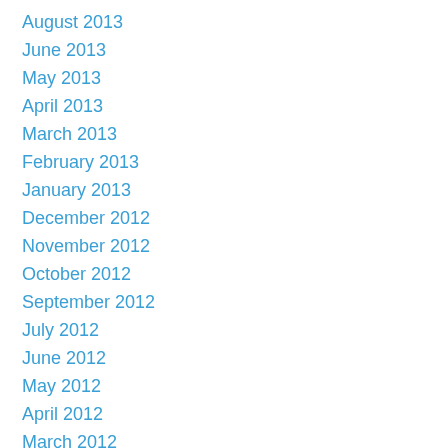August 2013
June 2013
May 2013
April 2013
March 2013
February 2013
January 2013
December 2012
November 2012
October 2012
September 2012
July 2012
June 2012
May 2012
April 2012
March 2012
February 2012
January 2012
December 2011
November 2011
October 2011